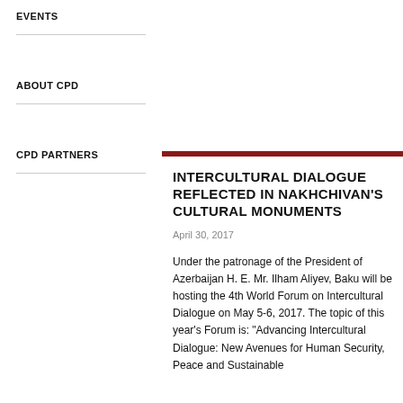EVENTS
ABOUT CPD
CPD PARTNERS
INTERCULTURAL DIALOGUE REFLECTED IN NAKHCHIVAN'S CULTURAL MONUMENTS
April 30, 2017
Under the patronage of the President of Azerbaijan H. E. Mr. Ilham Aliyev, Baku will be hosting the 4th World Forum on Intercultural Dialogue on May 5-6, 2017. The topic of this year's Forum is: "Advancing Intercultural Dialogue: New Avenues for Human Security, Peace and Sustainable